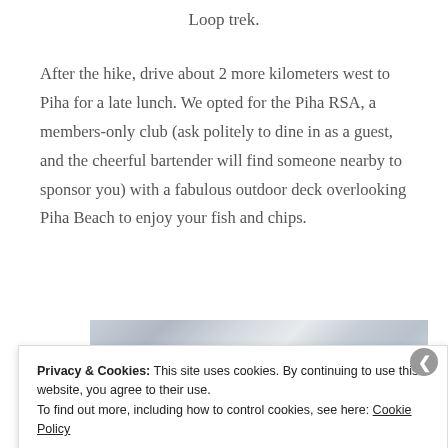Loop trek.
After the hike, drive about 2 more kilometers west to Piha for a late lunch. We opted for the Piha RSA, a members-only club (ask politely to dine in as a guest, and the cheerful bartender will find someone nearby to sponsor you) with a fabulous outdoor deck overlooking Piha Beach to enjoy your fish and chips.
[Figure (photo): Partial view of a photo showing a cloudy sky scene, partially obscured by a cookie consent banner.]
Privacy & Cookies: This site uses cookies. By continuing to use this website, you agree to their use.
To find out more, including how to control cookies, see here: Cookie Policy
Close and accept